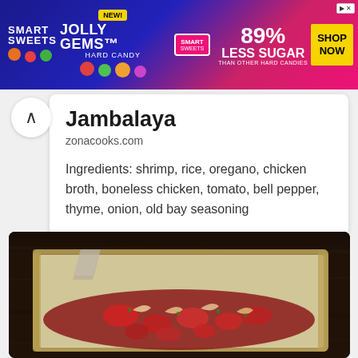[Figure (screenshot): SmartSweets Jolly Gems Hard Candy advertisement banner. Blue/pink gradient background. Text: NEW! JOLLY GEMS HARD CANDY, 89% LESS SUGAR THAN OTHER HARD CANDIES, SHOP NOW button.]
Jambalaya
zonacooks.com
Ingredients: shrimp, rice, oregano, chicken broth, boneless chicken, tomato, bell pepper, thyme, onion, old bay seasoning
[Figure (photo): Close-up photo of jambalaya in a baking pan on a dark wooden surface, showing shrimp, tomatoes, and seasonings over rice. A utensil is visible in the background.]